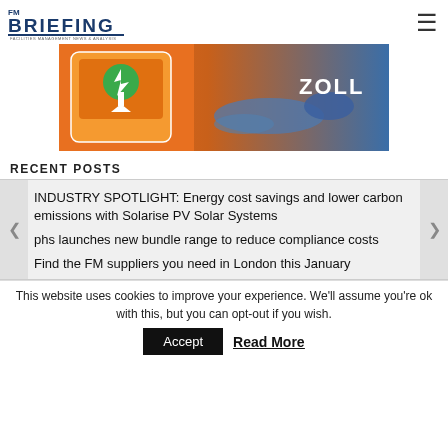FM Briefing logo and hamburger menu
[Figure (photo): Advertisement banner for ZOLL showing a defibrillator device (orange, with green heart/lightning bolt icon and downward arrow) and a person lying on the ground in a blue jacket. The word ZOLL appears in white on the right side.]
RECENT POSTS
INDUSTRY SPOTLIGHT: Energy cost savings and lower carbon emissions with Solarise PV Solar Systems
phs launches new bundle range to reduce compliance costs
Find the FM suppliers you need in London this January
This website uses cookies to improve your experience. We'll assume you're ok with this, but you can opt-out if you wish.
Accept   Read More